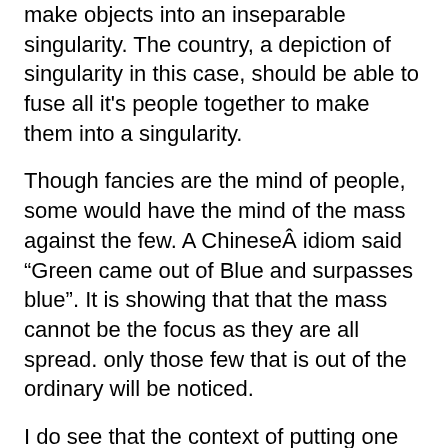make objects into an inseparable singularity. The country, a depiction of singularity in this case, should be able to fuse all it's people together to make them into a singularity.
Though fancies are the mind of people, some would have the mind of the mass against the few. A ChineseÂ idiom said “Green came out of Blue and surpasses blue”. It is showing that that the mass cannot be the focus as they are all spread. only those few that is out of the ordinary will be noticed.
I do see that the context of putting one part of the singularity above another is breaking the singularity and you can only count the singularity as one, an indivisible singularity.